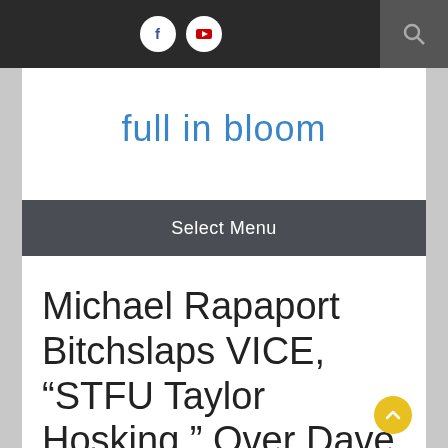full in bloom — navigation bar with Facebook and YouTube icons and search
full in bloom
Select Menu
Michael Rapaport Bitchslaps VICE, “STFU Taylor Hosking,” Over Dave